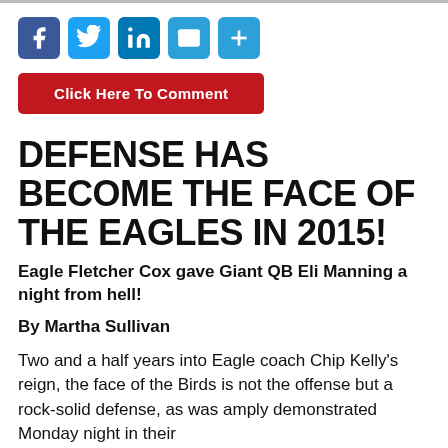[Figure (other): Social media share buttons: Facebook, Twitter, LinkedIn, Email, More]
[Figure (other): Red button labeled 'Click Here To Comment']
DEFENSE HAS BECOME THE FACE OF THE EAGLES IN 2015!
Eagle Fletcher Cox gave Giant QB Eli Manning a night from hell!
By Martha Sullivan
Two and a half years into Eagle coach Chip Kelly's reign, the face of the Birds is not the offense but a rock-solid defense, as was amply demonstrated Monday night in their